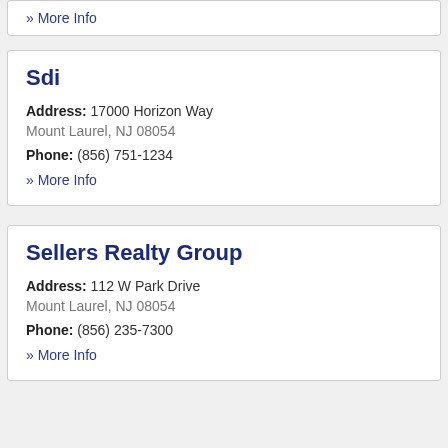» More Info
Sdi
Address: 17000 Horizon Way
Mount Laurel, NJ 08054
Phone: (856) 751-1234
» More Info
Sellers Realty Group
Address: 112 W Park Drive
Mount Laurel, NJ 08054
Phone: (856) 235-7300
» More Info